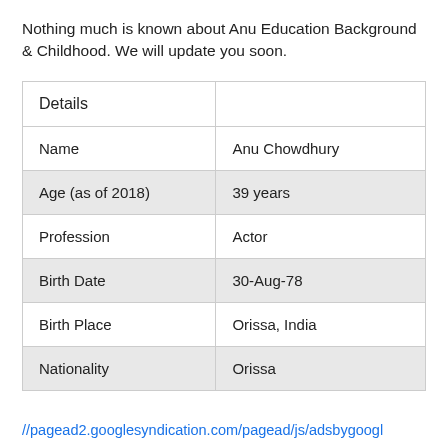Nothing much is known about Anu Education Background & Childhood. We will update you soon.
| Details |  |
| --- | --- |
| Name | Anu Chowdhury |
| Age (as of 2018) | 39 years |
| Profession | Actor |
| Birth Date | 30-Aug-78 |
| Birth Place | Orissa, India |
| Nationality | Orissa |
//pagead2.googlesyndication.com/pagead/js/adsbygoogl